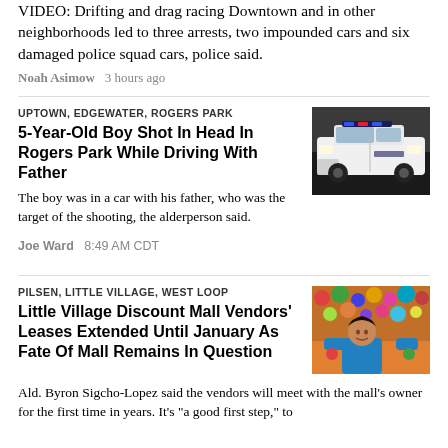VIDEO: Drifting and drag racing Downtown and in other neighborhoods led to three arrests, two impounded cars and six damaged police squad cars, police said.
Noah Asimow  3 hours ago
UPTOWN, EDGEWATER, ROGERS PARK
5-Year-Old Boy Shot In Head In Rogers Park While Driving With Father
The boy was in a car with his father, who was the target of the shooting, the alderperson said.
Joe Ward  8:49 AM CDT
[Figure (photo): Chicago police SUV vehicle parked on street]
PILSEN, LITTLE VILLAGE, WEST LOOP
Little Village Discount Mall Vendors' Leases Extended Until January As Fate Of Mall Remains In Question
Ald. Byron Sigcho-Lopez said the vendors will meet with the mall's owner for the first time in years. It's "a good first step," to
[Figure (photo): Woman vendor at colorful market stall]